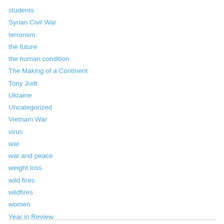students
Syrian Civil War
terrorism
the future
the human condition
The Making of a Continent
Tony Judt
Ukraine
Uncategorized
Vietnam War
virus
war
war and peace
weight loss
wild fires
wildfires
women
Year in Review